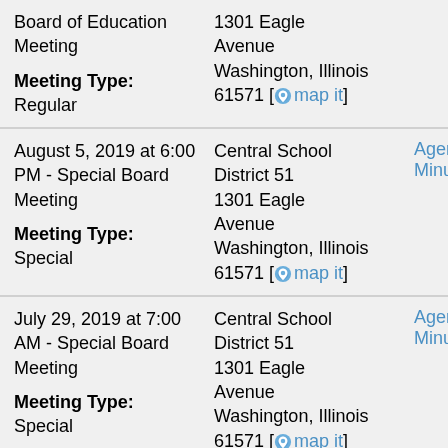Board of Education Meeting
Meeting Type: Regular
1301 Eagle Avenue Washington, Illinois 61571 [map it]
August 5, 2019 at 6:00 PM - Special Board Meeting
Meeting Type: Special
Central School District 51 1301 Eagle Avenue Washington, Illinois 61571 [map it]
Agenda Minutes
July 29, 2019 at 7:00 AM - Special Board Meeting
Meeting Type: Special
Central School District 51 1301 Eagle Avenue Washington, Illinois 61571 [map it]
Agenda Minutes